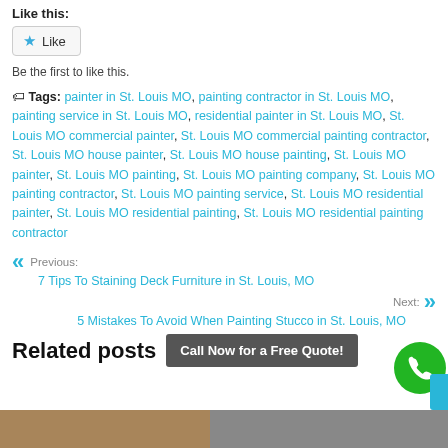Like this:
Like (button)
Be the first to like this.
Tags: painter in St. Louis MO, painting contractor in St. Louis MO, painting service in St. Louis MO, residential painter in St. Louis MO, St. Louis MO commercial painter, St. Louis MO commercial painting contractor, St. Louis MO house painter, St. Louis MO house painting, St. Louis MO painter, St. Louis MO painting, St. Louis MO painting company, St. Louis MO painting contractor, St. Louis MO painting service, St. Louis MO residential painter, St. Louis MO residential painting, St. Louis MO residential painting contractor
Previous: 7 Tips To Staining Deck Furniture in St. Louis, MO
Next: 5 Mistakes To Avoid When Painting Stucco in St. Louis, MO
Related posts
Call Now for a Free Quote!